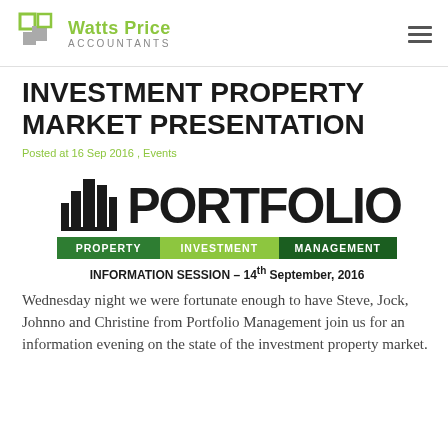Watts Price Accountants
INVESTMENT PROPERTY MARKET PRESENTATION
Posted at 16 Sep 2016 , Events
[Figure (logo): Portfolio Property Investment Management logo with building silhouette graphic and three colored tag labels: PROPERTY (dark green), INVESTMENT (light green), MANAGEMENT (dark green). Below: INFORMATION SESSION – 14th September, 2016]
Wednesday night we were fortunate enough to have Steve, Jock, Johnno and Christine from Portfolio Management join us for an information evening on the state of the investment property market.